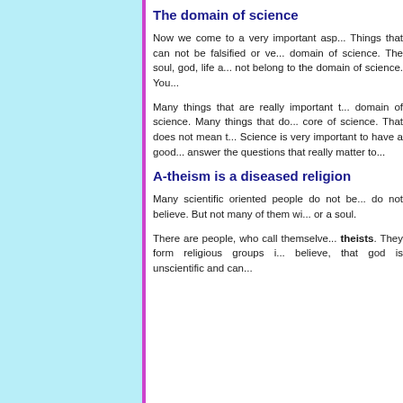The domain of science
Now we come to a very important asp... Things that can not be falsified or ve... domain of science. The soul, god, life a... not belong to the domain of science. You...
Many things that are really important t... domain of science. Many things that do... core of science. That does not mean t... Science is very important to have a good... answer the questions that really matter to...
A-theism is a diseased religion
Many scientific oriented people do not be... do not believe. But not many of them wi... or a soul.
There are people, who call themselve... theists. They form religious groups i... believe, that god is unscientific and can...